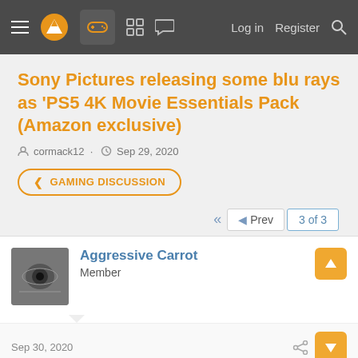Navigation bar with logo, gaming icon, forum icons, Log in, Register, Search
Sony Pictures releasing some blu rays as 'PS5 4K Movie Essentials Pack (Amazon exclusive)
cormack12 · Sep 29, 2020
< GAMING DISCUSSION
◄◄  ◄ Prev   3 of 3
Aggressive Carrot
Member
Sep 30, 2020
This collection doesn't do anything for me. I don't see it as